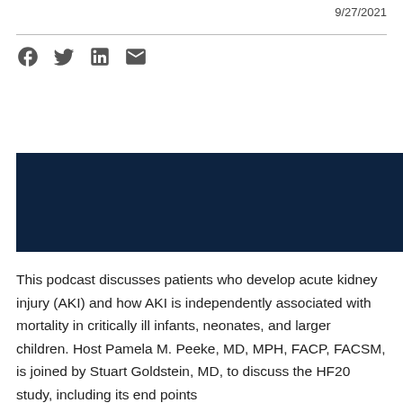9/27/2021
[Figure (other): Social media sharing icons: Facebook, Twitter, LinkedIn, Email]
[Figure (other): Dark navy blue media/podcast player block]
This podcast discusses patients who develop acute kidney injury (AKI) and how AKI is independently associated with mortality in critically ill infants, neonates, and larger children. Host Pamela M. Peeke, MD, MPH, FACP, FACSM, is joined by Stuart Goldstein, MD, to discuss the HF20 study, including its end points